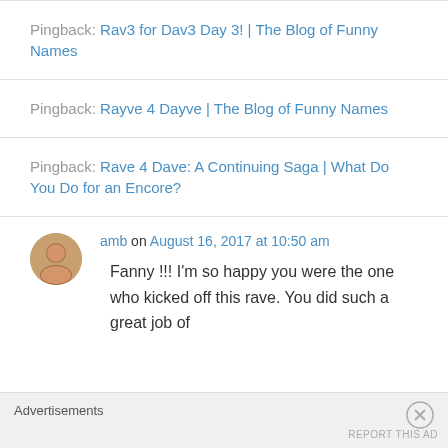Pingback: Rav3 for Dav3 Day 3! | The Blog of Funny Names
Pingback: Rayve 4 Dayve | The Blog of Funny Names
Pingback: Rave 4 Dave: A Continuing Saga | What Do You Do for an Encore?
amb on August 16, 2017 at 10:50 am
Fanny !!! I'm so happy you were the one who kicked off this rave. You did such a great job of
Advertisements